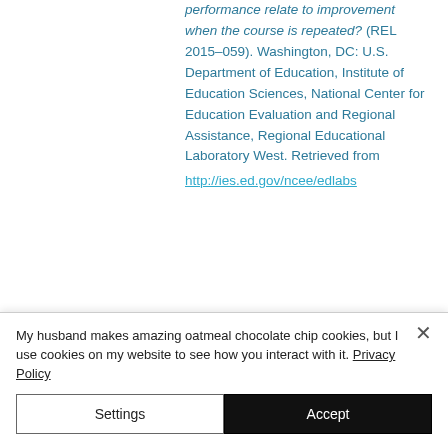performance relate to improvement when the course is repeated? (REL 2015–059). Washington, DC: U.S. Department of Education, Institute of Education Sciences, National Center for Education Evaluation and Regional Assistance, Regional Educational Laboratory West. Retrieved from http://ies.ed.gov/ncee/edlabs
Silver, D., Saunders, M., & Zarate, E.
My husband makes amazing oatmeal chocolate chip cookies, but I use cookies on my website to see how you interact with it. Privacy Policy